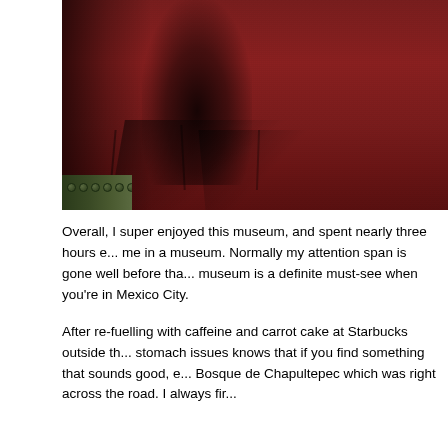[Figure (photo): Close-up photo of a dark crimson/maroon textured fabric or garment, showing pleated or folded sections. The left side has deep shadow. Small green beaded decoration visible at bottom left corner.]
Overall, I super enjoyed this museum, and spent nearly three hours e... me in a museum. Normally my attention span is gone well before tha... museum is a definite must-see when you're in Mexico City.
After re-fuelling with caffeine and carrot cake at Starbucks outside th... stomach issues knows that if you find something that sounds good, e... Bosque de Chapultepec which was right across the road. I always fir...